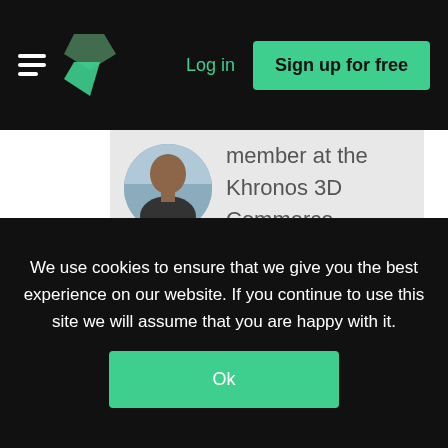Log in | Sign up for free
[Figure (photo): Circular avatar photo of a man in a dark shirt, outdoors background]
member at the Khronos 3D Commerce Working Group from minute one. Through the past years he gathered experience in the 3D commerce industry and authored multiple articles and a whitepaper on the challenges and possibilities of 3D technologies in e-
We use cookies to ensure that we give you the best experience on our website. If you continue to use this site we will assume that you are happy with it.